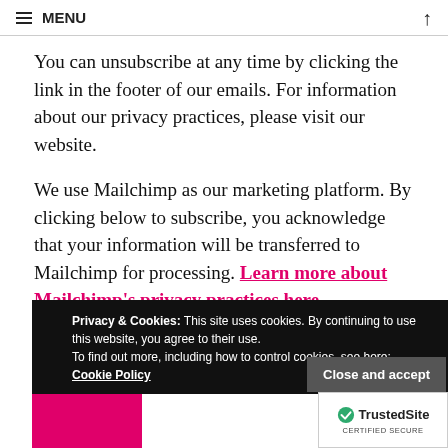≡ MENU  ↑
You can unsubscribe at any time by clicking the link in the footer of our emails. For information about our privacy practices, please visit our website.
We use Mailchimp as our marketing platform. By clicking below to subscribe, you acknowledge that your information will be transferred to Mailchimp for processing. Learn more about Mailchimp's privacy practices here.
Privacy & Cookies: This site uses cookies. By continuing to use this website, you agree to their use. To find out more, including how to control cookies, see here: Cookie Policy
Close and accept
[Figure (logo): TrustedSite CERTIFIED SECURE badge]